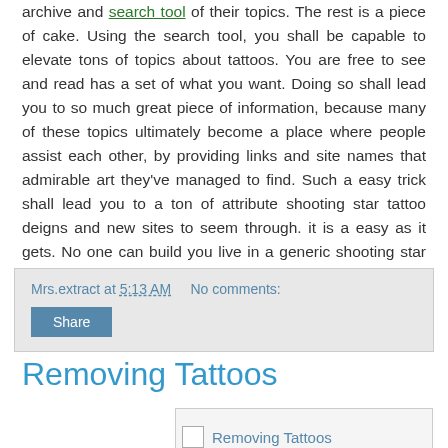archive and search tool of their topics. The rest is a piece of cake. Using the search tool, you shall be capable to elevate tons of topics about tattoos. You are free to see and read has a set of what you want. Doing so shall lead you to so much great piece of information, because many of these topics ultimately become a place where people assist each other, by providing links and site names that admirable art they've managed to find. Such a easy trick shall lead you to a ton of attribute shooting star tattoo deigns and new sites to seem through. it is a easy as it gets. No one can build you live in a generic shooting star tattoo designs other than yourself.
Mrs.extract at 5:13 AM   No comments:
Share
Removing Tattoos
[Figure (photo): Image placeholder labeled 'Removing Tattoos']